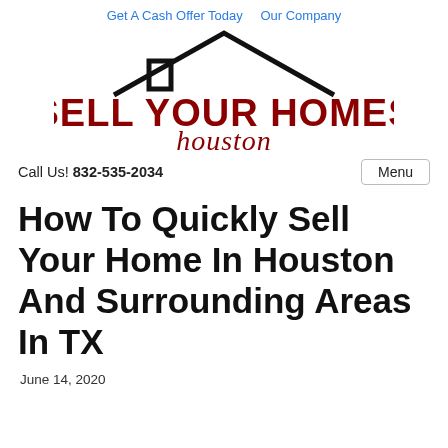Get A Cash Offer Today   Our Company
[Figure (logo): Sell Your Homes Houston logo with house roofline graphic above bold dark red text SELL YOUR HOMES and script Houston below]
Call Us! 832-535-2034
Menu
How To Quickly Sell Your Home In Houston And Surrounding Areas In TX
June 14, 2020